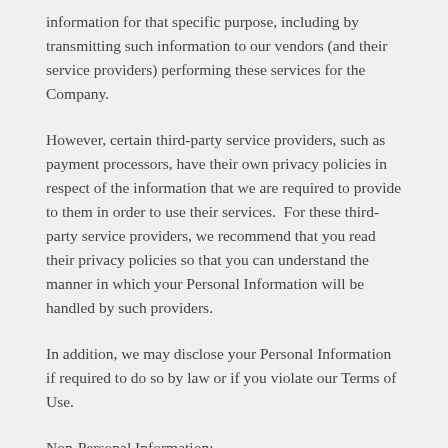information for that specific purpose, including by transmitting such information to our vendors (and their service providers) performing these services for the Company.
However, certain third-party service providers, such as payment processors, have their own privacy policies in respect of the information that we are required to provide to them in order to use their services. For these third-party service providers, we recommend that you read their privacy policies so that you can understand the manner in which your Personal Information will be handled by such providers.
In addition, we may disclose your Personal Information if required to do so by law or if you violate our Terms of Use.
Non-Personal Information:
In general, we use Non-Personal Information to help us improve the Service and customize the user experience. We also